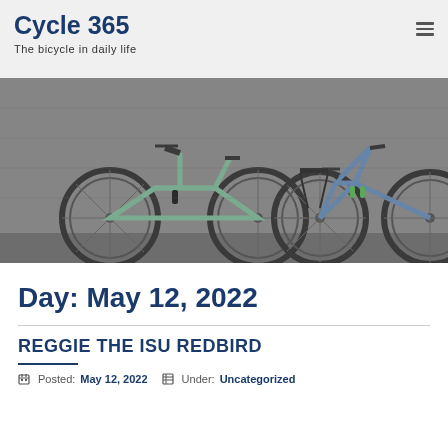Cycle 365 — The bicycle in daily life
[Figure (photo): Two bicycles leaning against a brick wall — one light green/mint gravel/touring bike and one blue/steel-blue touring bike with rear rack and accessories including water bottles]
Day: May 12, 2022
REGGIE THE ISU REDBIRD
Posted: May 12, 2022   Under: Uncategorized